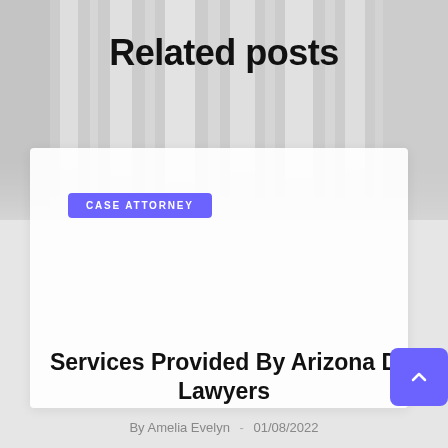Related posts
[Figure (photo): Blurred curtain background with white card overlay containing CASE ATTORNEY badge]
CASE ATTORNEY
Services Provided By Arizona D... Lawyers
By Amelia Evelyn  -  01/08/2022